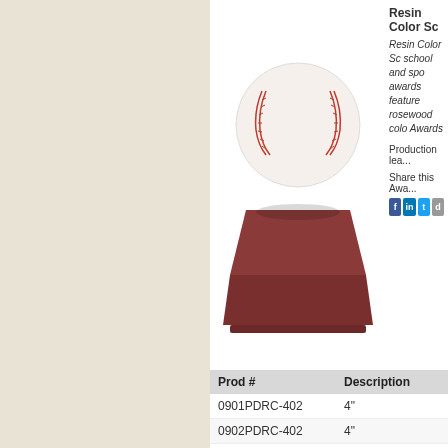[Figure (photo): Baseball trophy with resin baseball on rosewood-colored base]
Resin Color Sc...
Resin Color Sc... school and spo... awards feature... rosewood colo... Awards
Production lea...
Share this Awar...
| Prod # | Description |
| --- | --- |
| 0901PDRC-402 | 4" |
| 0902PDRC-402 | 4" |
| 0903PDRC-402 | 4" |
| 0904PDRC-402 | 4" |
| 09PDRS-401 | 4" Baseball and Glove (rosewood base) |
| 10CATRC-402 | 4" |
| 13PDRC-402 | 4" |
| 09PD60026GS | 4" Color Tek Baseball (pewter base) |
[Figure (photo): Bowling pin trophy at bottom of page]
Resin Color Sc...
Resin Color Sc...